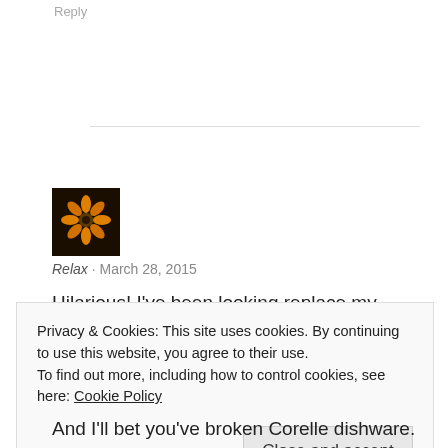Reply
[Figure (photo): Avatar image of a sunflower with dark background]
Relax · March 28, 2015
Hilarious! I've been looking replace my
Privacy & Cookies: This site uses cookies. By continuing to use this website, you agree to their use.
To find out more, including how to control cookies, see here: Cookie Policy
Close and accept
And I'll bet you've broken Corelle dishware.